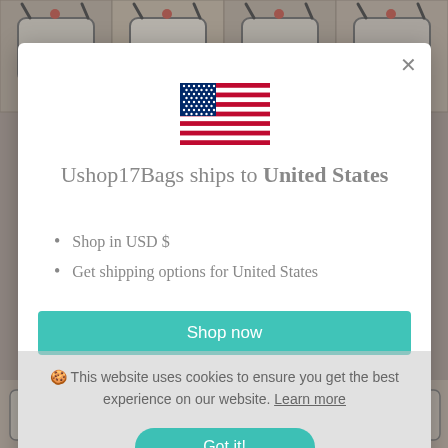[Figure (screenshot): Background showing product bag images in a grid, partially visible behind modal]
Ushop17Bags ships to United States
Shop in USD $
Get shipping options for United States
Shop now
🍪 This website uses cookies to ensure you get the best experience on our website. Learn more
Got it!